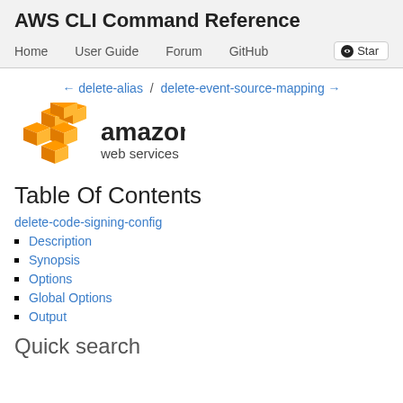AWS CLI Command Reference
Home  User Guide  Forum  GitHub  Star
← delete-alias  /  delete-event-source-mapping →
[Figure (logo): Amazon Web Services logo with orange cube icon and 'amazon web services' wordmark]
Table Of Contents
delete-code-signing-config
Description
Synopsis
Options
Global Options
Output
Quick search